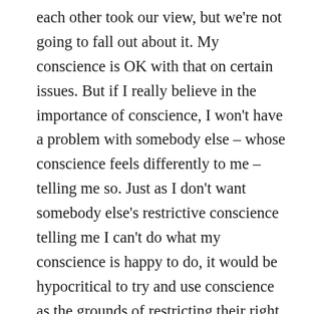each other took our view, but we're not going to fall out about it. My conscience is OK with that on certain issues. But if I really believe in the importance of conscience, I won't have a problem with somebody else – whose conscience feels differently to me – telling me so. Just as I don't want somebody else's restrictive conscience telling me I can't do what my conscience is happy to do, it would be hypocritical to try and use conscience as the grounds of restricting their right to disagree with me. I can't say, my liberty to do this is a conscience issue we can disagree over so you can't say I'm wrong! That is restricting their right to speak, according to conscience, in exactly the same way I don't want them to